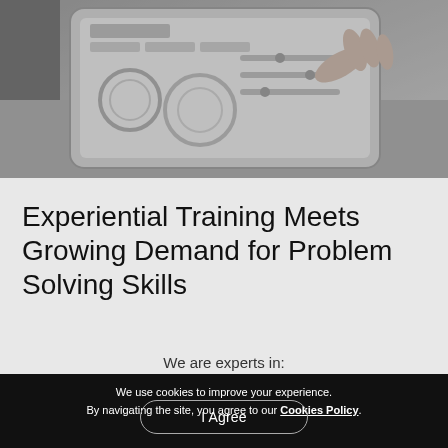[Figure (photo): Black and white photo of hands interacting with a tablet device showing a dashboard or control interface]
Experiential Training Meets Growing Demand for Problem Solving Skills
We are experts in:
We use cookies to improve your experience. By navigating the site, you agree to our Cookies Policy.
I Agree